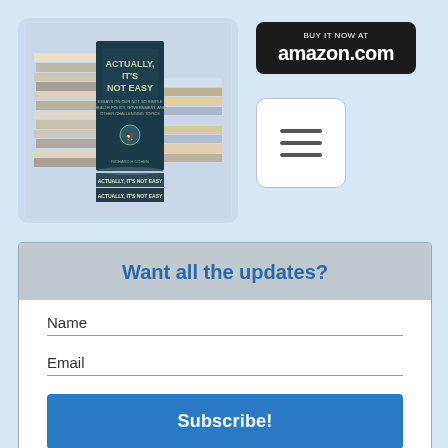[Figure (photo): Stack of books with a book titled 'Actually, It's Not Easy' displayed prominently in the center, surrounded by other stacked books on either side. The bottom shows book spines labeled 'ACTUALLY, IT'S NOT EASY'.]
[Figure (logo): Black rounded rectangle button with 'BUY IT NOW AT' text in white above 'amazon.com' logo in white with orange smile accent]
[Figure (other): Hamburger menu icon: three horizontal lines on a white rounded rectangle with gray border]
Want all the updates?
Name
Email
Subscribe!